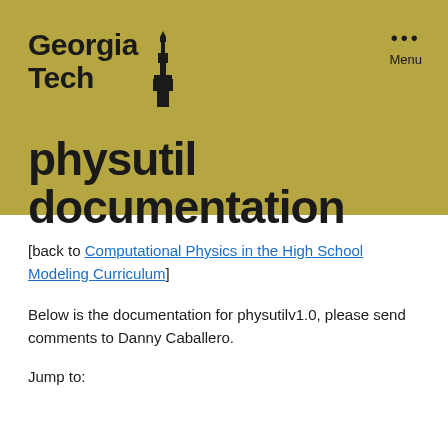Georgia Tech
physutil documentation
[back to Computational Physics in the High School Modeling Curriculum]
Below is the documentation for physutilv1.0, please send comments to Danny Caballero.
Jump to: